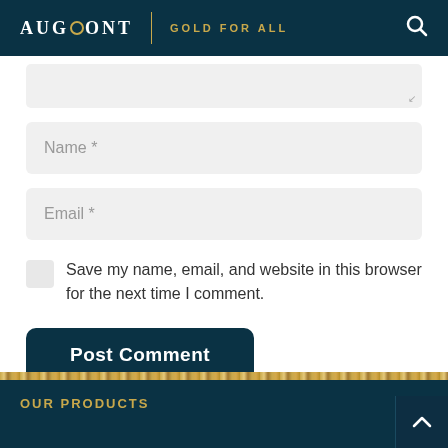AUGMONT | GOLD FOR ALL
Name *
Email *
Save my name, email, and website in this browser for the next time I comment.
Post Comment
OUR PRODUCTS